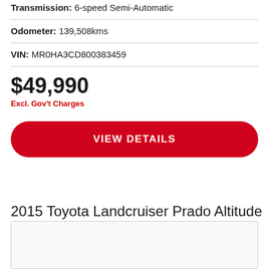Transmission: 6-speed Semi-Automatic
Odometer: 139,508kms
VIN: MR0HA3CD800383459
$49,990
Excl. Gov't Charges
VIEW DETAILS
2015 Toyota Landcruiser Prado Altitude
[Figure (photo): Car listing image placeholder, light gray box]